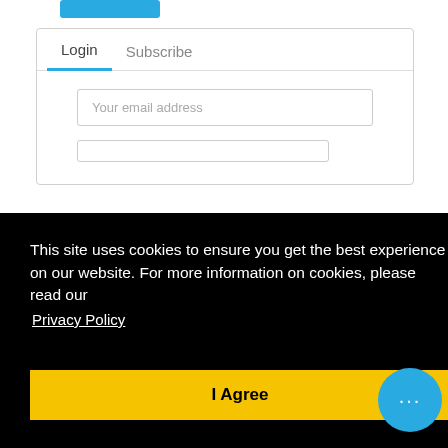[Figure (screenshot): Teal/cyan button stub partially visible at top of page]
[Figure (screenshot): Login form card with Login and Subscribe tabs, email input field, and password input field partially visible]
This site uses cookies to ensure you get the best experience on our website. For more information on cookies, please read our Privacy Policy
I Agree
[Figure (screenshot): Blue chat bubble icon with three dots at bottom right]